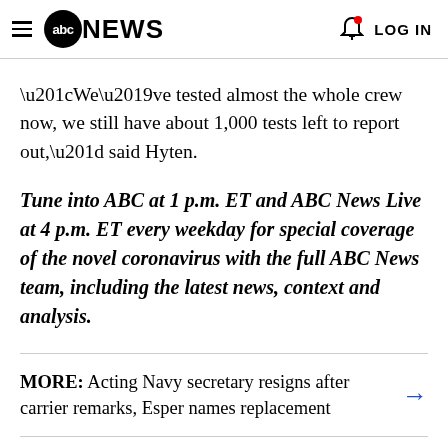abc NEWS  LOG IN
“We’ve tested almost the whole crew now, we still have about 1,000 tests left to report out,” said Hyten.
Tune into ABC at 1 p.m. ET and ABC News Live at 4 p.m. ET every weekday for special coverage of the novel coronavirus with the full ABC News team, including the latest news, context and analysis.
MORE: Acting Navy secretary resigns after carrier remarks, Esper names replacement